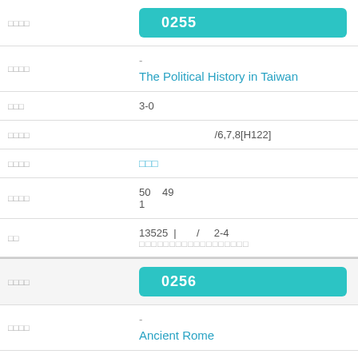| Field | Value |
| --- | --- |
| □□□□ | 0255 |
| □□□□ | -
The Political History in Taiwan |
| □□□ | 3-0 |
| □□□□ | /6,7,8[H122] |
| □□□□ | □□□ |
| □□□□ | 50  49
1 |
| □□ | 13525 |  /  2-4
□□□□□□□□□□□□□□□□□□ |
| □□□□ | 0256 |
| □□□□ | -
Ancient Rome |